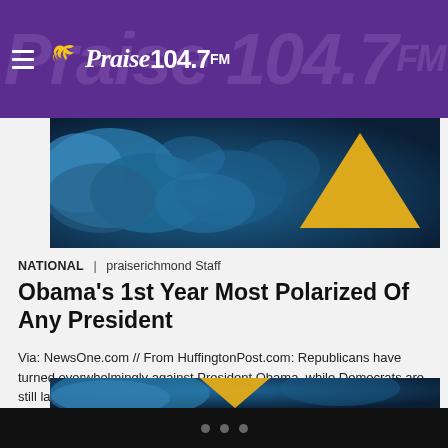Praise 104.7 FM
[Figure (photo): Blue cloudy sky background with golden/yellow triangle shape, top hero image]
NATIONAL | praiserichmond Staff
Obama's 1st Year Most Polarized Of Any President
Via:  NewsOne.com // From HuffingtonPost.com: Republicans have turned overwhelmingly against President Obama, while Democrats are still largely supportive — leading to the most polarized approval ratings ever recorded during a president's first year in office, a new report by Gallup finds. Over the course of this past year, Obama has averaged a job approval rating […]
[Figure (photo): Blue cloudy sky background with golden/yellow triangle shape, bottom hero image cropped]